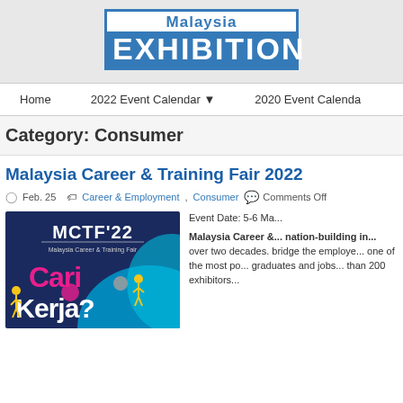[Figure (logo): Malaysia Exhibition logo — blue border box with 'Malaysia' in blue text above 'EXHIBITION' in white on blue background]
Home   2022 Event Calendar ▾   2020 Event Calendar
Category: Consumer
Malaysia Career & Training Fair 2022
Feb. 25   Career & Employment, Consumer   Comments Off
[Figure (photo): MCTF'22 Malaysia Career & Training Fair event poster with text 'Cari Kerja?' on dark blue and teal background with illustrated figures]
Event Date: 5-6 Ma...
Malaysia Career &... nation-building in... over two decades. bridge the employe... one of the most po... graduates and jobs... than 200 exhibitors...